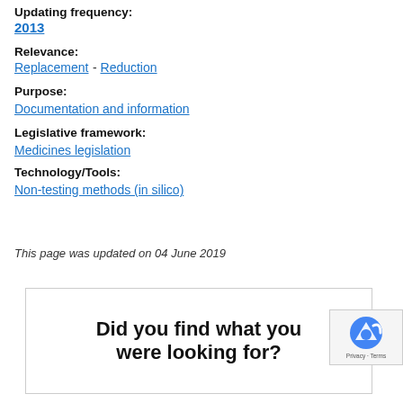Updating frequency:
2013
Relevance:
Replacement - Reduction
Purpose:
Documentation and information
Legislative framework:
Medicines legislation
Technology/Tools:
Non-testing methods (in silico)
This page was updated on 04 June 2019
Did you find what you were looking for?